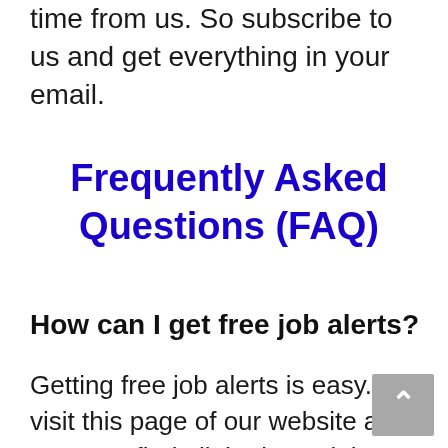time from us. So subscribe to us and get everything in your email.
Frequently Asked Questions (FAQ)
How can I get free job alerts?
Getting free job alerts is easy. Just visit this page of our website and you may find all the latest jobs related to SSC, UPSC, Bank, Teaching, and more categories. Here you will get the freejobalert about all Government Exams/ Sarkari Naukri on a daily basis. You can also